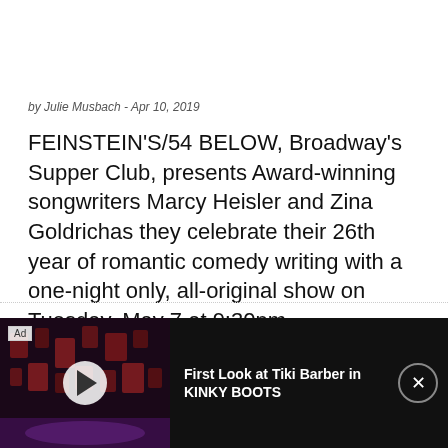by Julie Musbach - Apr 10, 2019
FEINSTEIN'S/54 BELOW, Broadway's Supper Club, presents Award-winning songwriters Marcy Heisler and Zina Goldrichas they celebrate their 26th year of romantic comedy writing with a one-night only, all-original show on Tuesday, May 7 at 9:30pm
[Figure (photo): Advertisement banner with text 'Cheating?' in red on a light blue sunburst background with a cartoon book at the bottom]
[Figure (screenshot): Video thumbnail showing a stage with red lighting and text overlay: First Look at Tiki Barber in KINKY BOOTS]